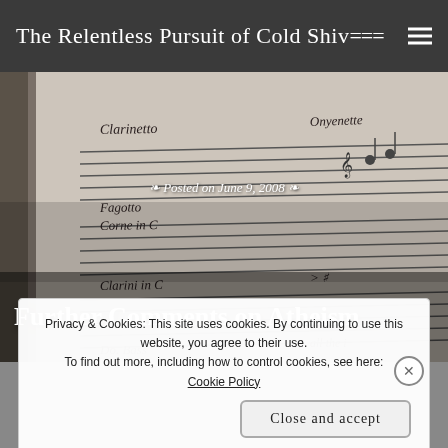The Relentless Pursuit of Cold Shiv…
[Figure (photo): Handwritten sheet music manuscript page used as blog header background image, showing cursive instrument names and musical notation including 'Clarinetto', 'Fagotto', 'Corne in C', 'Clarini in C', 'Do. Bass', 'Violoncello' with staff lines and notes.]
Posted on June 9, 2008
Further Comments on Atheism
Privacy & Cookies: This site uses cookies. By continuing to use this website, you agree to their use.
To find out more, including how to control cookies, see here: Cookie Policy
Close and accept